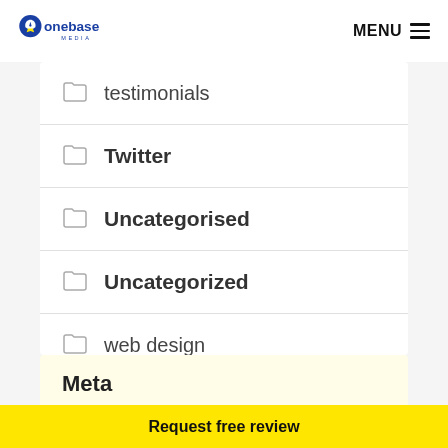onebase MEDIA | MENU
testimonials
Twitter
Uncategorised
Uncategorized
web design
Meta
Request free review